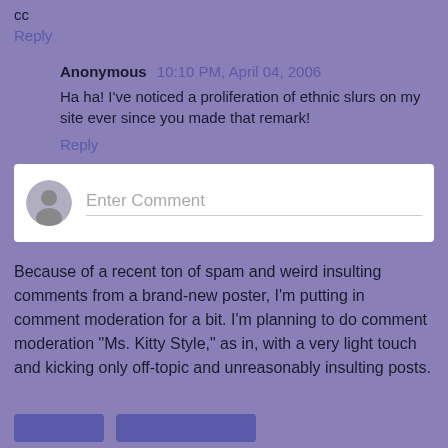cc
Reply
Anonymous 10:10 PM, April 04, 2006
Ha ha! I've noticed a proliferation of ethnic slurs on my site ever since you made that remark!
Reply
[Figure (other): Enter Comment input box with avatar icon and placeholder text]
Because of a recent ton of spam and weird insulting comments from a brand-new poster, I'm putting in comment moderation for a bit. I'm planning to do comment moderation "Ms. Kitty Style," as in, with a very light touch and kicking only off-topic and unreasonably insulting posts.